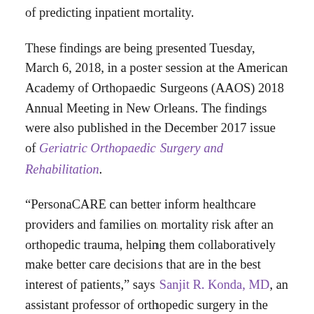of predicting inpatient mortality.
These findings are being presented Tuesday, March 6, 2018, in a poster session at the American Academy of Orthopaedic Surgeons (AAOS) 2018 Annual Meeting in New Orleans. The findings were also published in the December 2017 issue of Geriatric Orthopaedic Surgery and Rehabilitation.
“PersonaCARE can better inform healthcare providers and families on mortality risk after an orthopedic trauma, helping them collaboratively make better care decisions that are in the best interest of patients,” says Sanjit R. Konda, MD, an assistant professor of orthopedic surgery in the